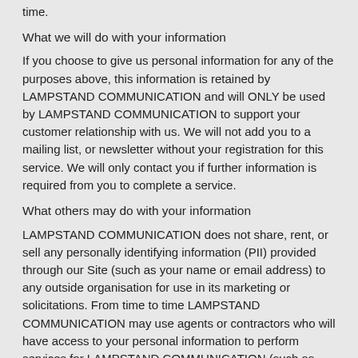time.
What we will do with your information
If you choose to give us personal information for any of the purposes above, this information is retained by LAMPSTAND COMMUNICATION and will ONLY be used by LAMPSTAND COMMUNICATION to support your customer relationship with us. We will not add you to a mailing list, or newsletter without your registration for this service. We will only contact you if further information is required from you to complete a service.
What others may do with your information
LAMPSTAND COMMUNICATION does not share, rent, or sell any personally identifying information (PII) provided through our Site (such as your name or email address) to any outside organisation for use in its marketing or solicitations. From time to time LAMPSTAND COMMUNICATION may use agents or contractors who will have access to your personal information to perform services for LAMPSTAND COMMUNICATION (such as DATABASE MAINTENANCE, SERVER MAINTENANCE), however, they are required by law to keep the